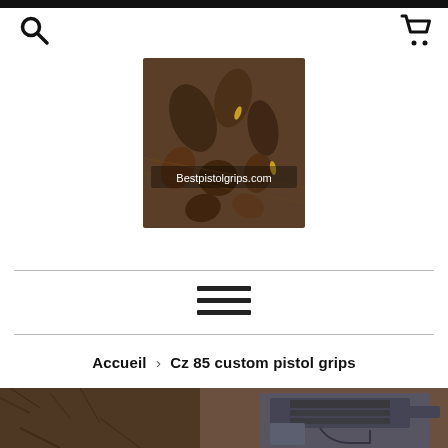[Figure (logo): Bestpistolgrips.com logo: pile of wooden and rubber pistol grips with text overlay 'Bestpistolgrips.com']
[Figure (other): Hamburger menu icon (three horizontal bars)]
Accueil › Cz 85 custom pistol grips
[Figure (photo): Product photo showing a pistol (Cz 85) with custom grips against a fur/textile background]